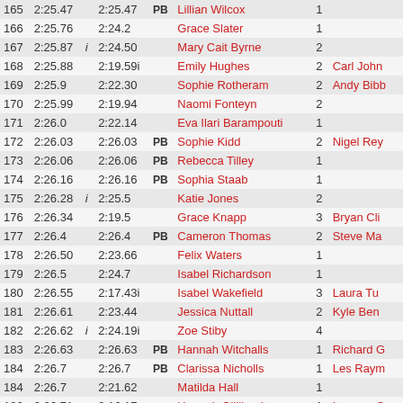| Rank | Time | i | PB Time | PB | Name | Count | Coach |
| --- | --- | --- | --- | --- | --- | --- | --- |
| 165 | 2:25.47 |  | 2:25.47 | PB | Lillian Wilcox | 1 |  |
| 166 | 2:25.76 |  | 2:24.2 |  | Grace Slater | 1 |  |
| 167 | 2:25.87 | i | 2:24.50 |  | Mary Cait Byrne | 2 |  |
| 168 | 2:25.88 |  | 2:19.59i |  | Emily Hughes | 2 | Carl John |
| 169 | 2:25.9 |  | 2:22.30 |  | Sophie Rotheram | 2 | Andy Bibb |
| 170 | 2:25.99 |  | 2:19.94 |  | Naomi Fonteyn | 2 |  |
| 171 | 2:26.0 |  | 2:22.14 |  | Eva Ilari Barampouti | 1 |  |
| 172 | 2:26.03 |  | 2:26.03 | PB | Sophie Kidd | 2 | Nigel Rey |
| 173 | 2:26.06 |  | 2:26.06 | PB | Rebecca Tilley | 1 |  |
| 174 | 2:26.16 |  | 2:26.16 | PB | Sophia Staab | 1 |  |
| 175 | 2:26.28 | i | 2:25.5 |  | Katie Jones | 2 |  |
| 176 | 2:26.34 |  | 2:19.5 |  | Grace Knapp | 3 | Bryan Cli |
| 177 | 2:26.4 |  | 2:26.4 | PB | Cameron Thomas | 2 | Steve Ma |
| 178 | 2:26.50 |  | 2:23.66 |  | Felix Waters | 1 |  |
| 179 | 2:26.5 |  | 2:24.7 |  | Isabel Richardson | 1 |  |
| 180 | 2:26.55 |  | 2:17.43i |  | Isabel Wakefield | 3 | Laura Tu |
| 181 | 2:26.61 |  | 2:23.44 |  | Jessica Nuttall | 2 | Kyle Ben |
| 182 | 2:26.62 | i | 2:24.19i |  | Zoe Stiby | 4 |  |
| 183 | 2:26.63 |  | 2:26.63 | PB | Hannah Witchalls | 1 | Richard G |
| 184 | 2:26.7 |  | 2:26.7 | PB | Clarissa Nicholls | 1 | Les Ray |
| 184 | 2:26.7 |  | 2:21.62 |  | Matilda Hall | 1 |  |
| 186 | 2:26.71 |  | 2:16.17 |  | Hannah Gilliland | 1 | Lawson C |